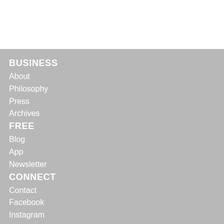BUSINESS
About
Philosophy
Press
Archives
FREE
Blog
App
Newsletter
CONNECT
Contact
Facebook
Instagram